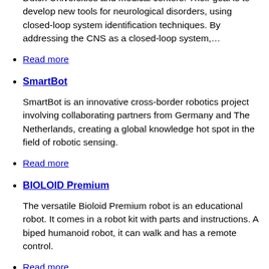Dutch Universities and medical centers. Their goal is to develop new tools for neurological disorders, using closed-loop system identification techniques. By addressing the CNS as a closed-loop system,…
Read more
SmartBot
SmartBot is an innovative cross-border robotics project involving collaborating partners from Germany and The Netherlands, creating a global knowledge hot spot in the field of robotic sensing.
Read more
BIOLOID Premium
The versatile Bioloid Premium robot is an educational robot. It comes in a robot kit with parts and instructions. A biped humanoid robot, it can walk and has a remote control.
Read more
Jack